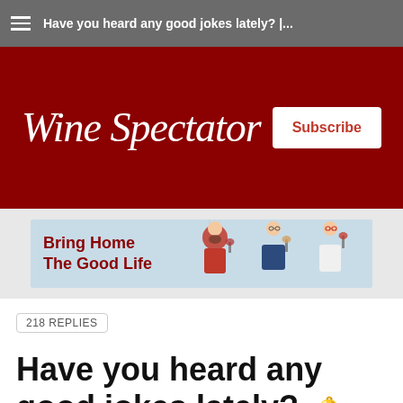Have you heard any good jokes lately? |...
[Figure (logo): Wine Spectator logo in white serif text on dark red background, with a Subscribe button]
[Figure (infographic): Advertisement banner: 'Bring Home The Good Life' with illustrated characters drinking wine on light blue background]
218 REPLIES
Have you heard any good jokes lately?